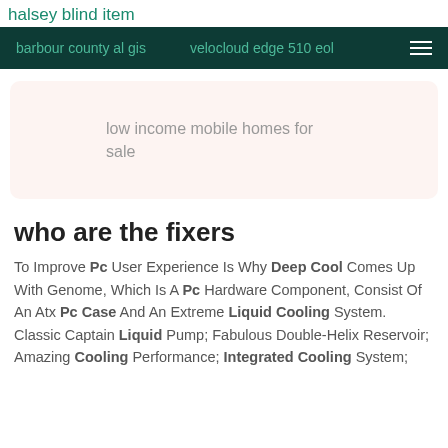halsey blind item
barbour county al gis   velocloud edge 510 eol
low income mobile homes for sale
who are the fixers
To Improve Pc User Experience Is Why Deep Cool Comes Up With Genome, Which Is A Pc Hardware Component, Consist Of An Atx Pc Case And An Extreme Liquid Cooling System. Classic Captain Liquid Pump; Fabulous Double-Helix Reservoir; Amazing Cooling Performance; Integrated Cooling System;